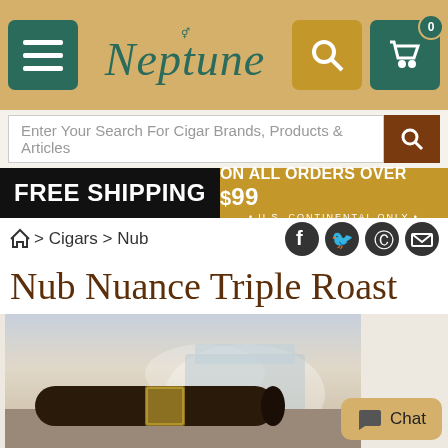Neptune - cigar shop website header with menu, logo, search, and cart
Enter Your Search For Cigar Brands, Products & Articles
FREE SHIPPING ON ALL ORDERS OVER $99 • U.S. CONTINENTAL ONLY •
> Cigars > Nub
Nub Nuance Triple Roast
[Figure (photo): A dark cigar resting on a stone surface with Niagara Falls waterfall in the background]
Chat